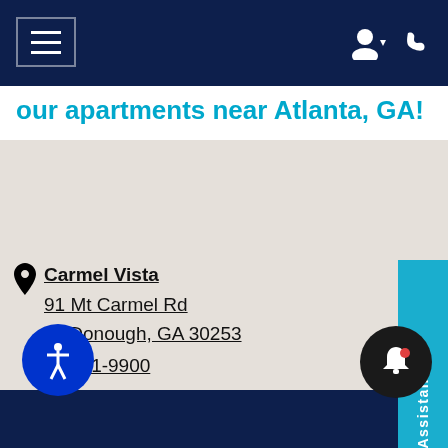our apartments near Atlanta, GA!
Carmel Vista
91 Mt Carmel Rd
McDonough, GA 30253
271-9900
Floor Plan Assistant